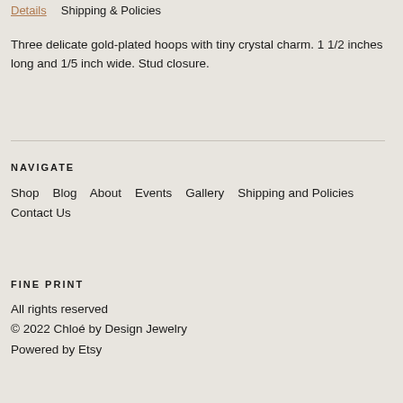Details   Shipping & Policies
Three delicate gold-plated hoops with tiny crystal charm. 1 1/2 inches long and 1/5 inch wide. Stud closure.
NAVIGATE
Shop   Blog   About   Events   Gallery   Shipping and Policies   Contact Us
FINE PRINT
All rights reserved
© 2022 Chloé by Design Jewelry
Powered by Etsy